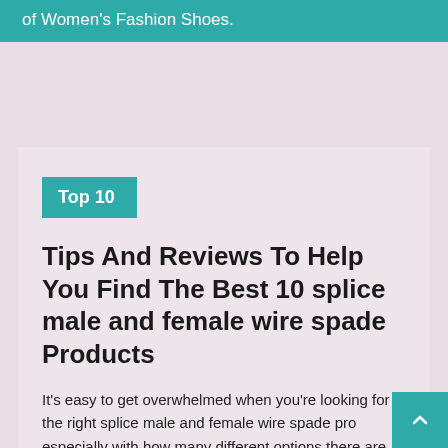of Women's Fashion Shoes.
Top 10
Tips And Reviews To Help You Find The Best 10 splice male and female wire spade Products
It's easy to get overwhelmed when you're looking for the right splice male and female wire spade pro especially with how many different options there are